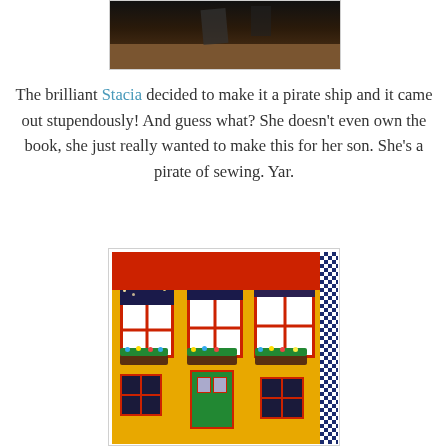[Figure (photo): Top portion of a photo showing a dark pirate ship themed fabric or banner, cropped at the top of the page.]
The brilliant Stacia decided to make it a pirate ship and it came out stupendously! And guess what? She doesn't even own the book, she just really wanted to make this for her son. She's a pirate of sewing. Yar.
[Figure (photo): A photo of a yellow fabric playhouse with red-trimmed windows decorated with dark patterned valances, colorful flower boxes with dots/lights, a green door, and a blue gingham border on the right side. Red curtain visible at the top.]